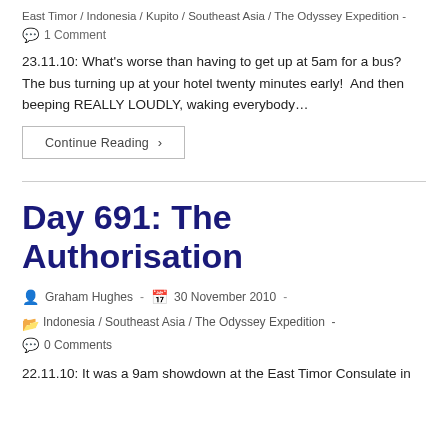East Timor / Indonesia / Kupito / Southeast Asia / The Odyssey Expedition -
1 Comment
23.11.10: What's worse than having to get up at 5am for a bus? The bus turning up at your hotel twenty minutes early!  And then beeping REALLY LOUDLY, waking everybody…
Continue Reading ›
Day 691: The Authorisation
Graham Hughes - 30 November 2010 -
Indonesia / Southeast Asia / The Odyssey Expedition -
0 Comments
22.11.10: It was a 9am showdown at the East Timor Consulate in